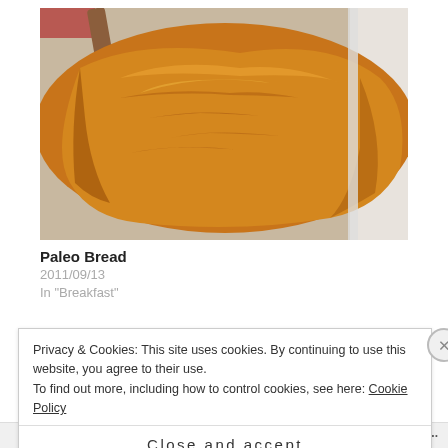[Figure (photo): A golden-brown baked paleo bread loaf in a white baking pan, viewed from above at an angle. The crust is shiny and cracked on top.]
Paleo Bread
2011/09/13
In "Breakfast"
[Figure (photo): Partial view of a second food photo showing a light-colored dish with dark background.]
Privacy & Cookies: This site uses cookies. By continuing to use this website, you agree to their use.
To find out more, including how to control cookies, see here: Cookie Policy
Close and accept
Follow